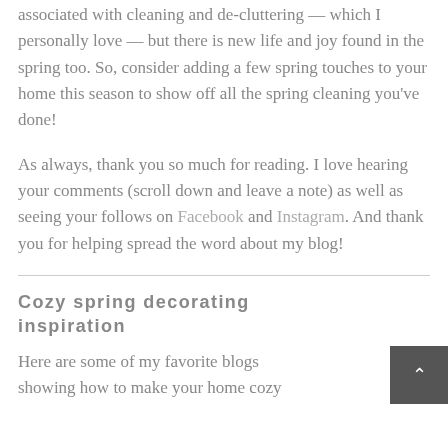associated with cleaning and de-cluttering — which I personally love — but there is new life and joy found in the spring too. So, consider adding a few spring touches to your home this season to show off all the spring cleaning you've done!
As always, thank you so much for reading. I love hearing your comments (scroll down and leave a note) as well as seeing your follows on Facebook and Instagram. And thank you for helping spread the word about my blog!
Cozy spring decorating inspiration
Here are some of my favorite blogs showing how to make your home cozy